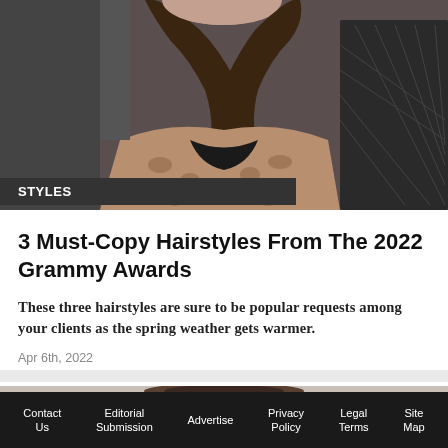[Figure (photo): Partial view of a woman wearing a snake-print outfit at an awards event, with long wavy brown hair, cropped at the shoulder level.]
STYLES
3 Must-Copy Hairstyles From The 2022 Grammy Awards
These three hairstyles are sure to be popular requests among your clients as the spring weather gets warmer.
Apr 6th, 2022
[Figure (photo): Partial view of a person with curly dark hair, cropped at the top of the head, in a light-colored indoor setting.]
Contact Us   Editorial Submission   Advertise   Privacy Policy   Legal Terms   Site Map